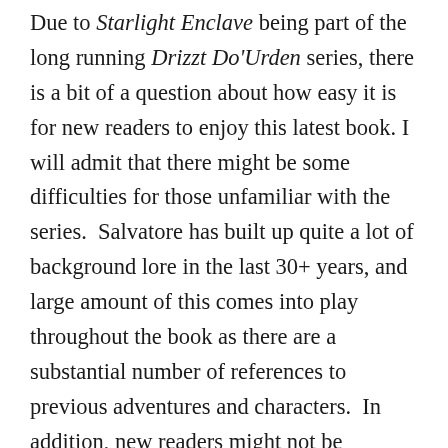Due to Starlight Enclave being part of the long running Drizzt Do'Urden series, there is a bit of a question about how easy it is for new readers to enjoy this latest book. I will admit that there might be some difficulties for those unfamiliar with the series.  Salvatore has built up quite a lot of background lore in the last 30+ years, and large amount of this comes into play throughout the book as there are a substantial number of references to previous adventures and characters.  In addition, new readers might not be familiar with Salvatore's writing style, which is very similar to how he wrote the original novels back in the 1980s, and as a result, they have a more classic fantasy adventure feel to them.  As someone familiar with the previous adventures (although I could use a refresher) and the author's style,